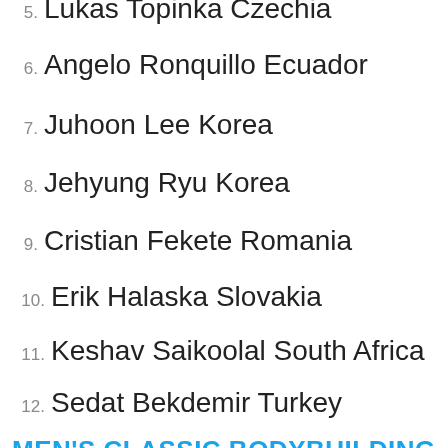5. Lukas Topinka Czechia
6. Angelo Ronquillo Ecuador
7. Juhoon Lee Korea
8. Jehyung Ryu Korea
9. Cristian Fekete Romania
10. Erik Halaska Slovakia
11. Keshav Saikoolal South Africa
12. Sedat Bekdemir Turkey
MEN'S CLASSIC BODYBUILDING UP TO 180 CM
1. Yunlong Fan China